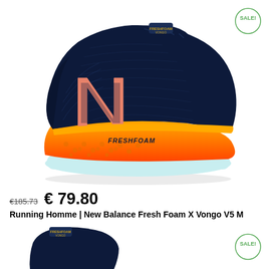[Figure (photo): New Balance Fresh Foam X Vongo V5 M running shoe, dark navy upper with pink N logo, bright orange/yellow Fresh Foam midsole, light blue outsole, shown in side profile on white background]
[Figure (logo): SALE! badge, circular green-outlined circle with green text]
€185.73  € 79.80
Running Homme | New Balance Fresh Foam X Vongo V5 M
[Figure (photo): Partial view of a second New Balance shoe at bottom of page, dark navy, partially cropped]
[Figure (logo): Second SALE! badge, circular green-outlined circle with green text]